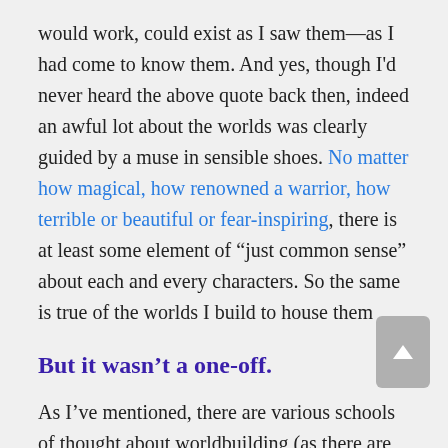would work, could exist as I saw them—as I had come to know them. And yes, though I'd never heard the above quote back then, indeed an awful lot about the worlds was clearly guided by a muse in sensible shoes. No matter how magical, how renowned a warrior, how terrible or beautiful or fear-inspiring, there is at least some element of “just common sense” about each and every characters. So the same is true of the worlds I build to house them
But it wasn’t a one-off.
As I’ve mentioned, there are various schools of thought about worldbuilding (as there are about every writerly pursuit from grammar to dialogue tags to